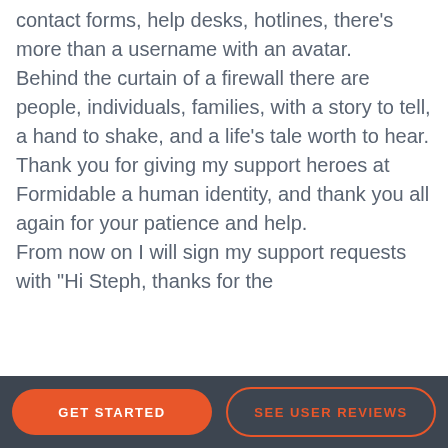contact forms, help desks, hotlines, there's more than a username with an avatar.
Behind the curtain of a firewall there are people, individuals, families, with a story to tell, a hand to shake, and a life's tale worth to hear.

Thank you for giving my support heroes at Formidable a human identity, and thank you all again for your patience and help.
From now on I will sign my support requests with "Hi Steph, thanks for the
GET STARTED  SEE USER REVIEWS